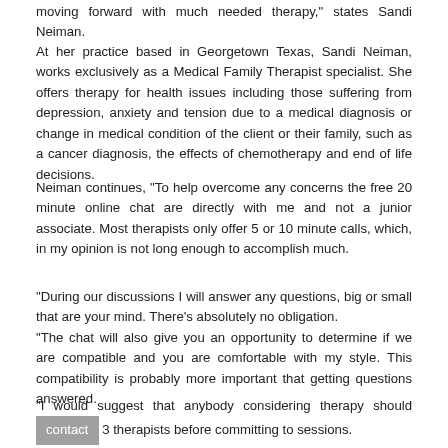moving forward with much needed therapy," states Sandi Neiman.
At her practice based in Georgetown Texas, Sandi Neiman, works exclusively as a Medical Family Therapist specialist. She offers therapy for health issues including those suffering from depression, anxiety and tension due to a medical diagnosis or change in medical condition of the client or their family, such as a cancer diagnosis, the effects of chemotherapy and end of life decisions.
Neiman continues, “To help overcome any concerns the free 20 minute online chat are directly with me and not a junior associate. Most therapists only offer 5 or 10 minute calls, which, in my opinion is not long enough to accomplish much.
“During our discussions I will answer any questions, big or small that are your mind. There’s absolutely no obligation.
“The chat will also give you an opportunity to determine if we are compatible and you are comfortable with my style. This compatibility is probably more important that getting questions answered.
“I would suggest that anybody considering therapy should contact 3 therapists before committing to sessions.
“Be able to...